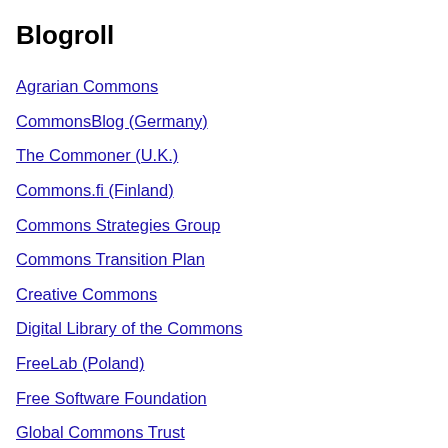Blogroll
Agrarian Commons
CommonsBlog (Germany)
The Commoner (U.K.)
Commons.fi (Finland)
Commons Strategies Group
Commons Transition Plan
Creative Commons
Digital Library of the Commons
FreeLab (Poland)
Free Software Foundation
Global Commons Trust
Goteo (Spain)
Great Lakes Commons
Guerrilla Translation
Indian Commoner (India)